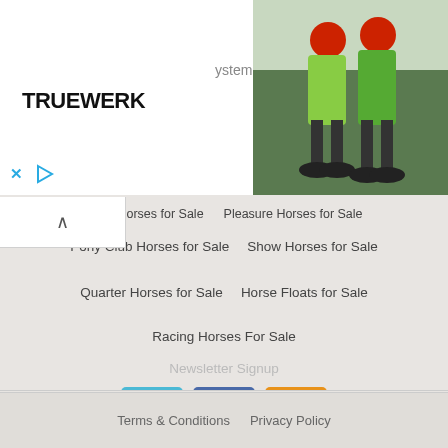[Figure (screenshot): Truewerk advertisement banner with logo and partial text 'ystem', with photo of two cyclists in green gear on the right]
Paint Horses for Sale
Pleasure Horses for Sale
Pony Club Horses for Sale
Show Horses for Sale
Quarter Horses for Sale
Horse Floats for Sale
Racing Horses For Sale
Newsletter Signup
[Figure (screenshot): Social media icons: Twitter (blue), Facebook (dark blue), RSS (orange)]
Blog
Safety Centre
Browse Listing
Terms & Conditions
Privacy Policy